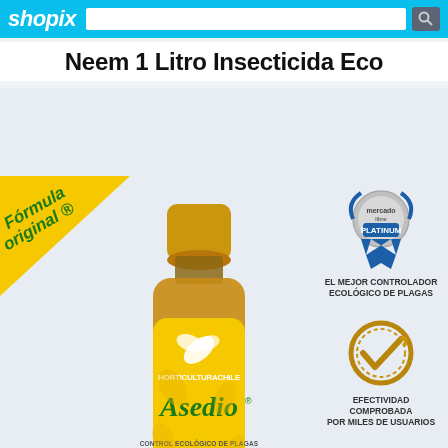shopix [search bar]
Neem 1 Litro Insecticida Eco
[Figure (photo): Product photo of Asedio Neem 1 Litro Insecticida Eco bottle by HorticulturAChile with yellow label, golden cap. Includes 'Fórmula original ®' green badge top-left, Mercado Libre PLATINUM seller badge top-right, and a gold checkmark badge bottom-right. Bottle label reads: HORTICULTURACHILE, Asedio®, CONTROL ECOLÓGICO DE PLAGAS PARA HUERTA Y JARDÍN. Right side text: EL MEJOR CONTROLADOR ECOLÓGICO DE PLAGAS / EFECTIVIDAD COMPROBADA POR MILES DE USUARIOS]